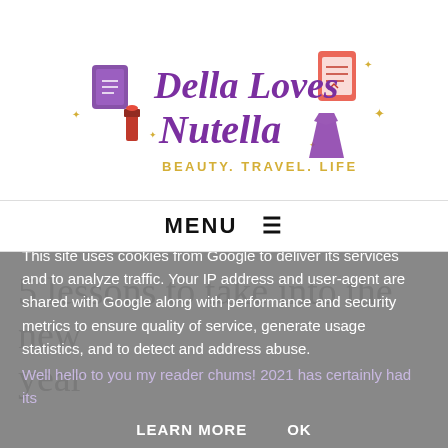[Figure (logo): Della Loves Nutella blog logo with script text, purple dress, lipstick, passport, and planner icons. Subtitle reads BEAUTY. TRAVEL. LIFE in gold.]
MENU ≡
5 lessons to take into the new year
This site uses cookies from Google to deliver its services and to analyze traffic. Your IP address and user-agent are shared with Google along with performance and security metrics to ensure quality of service, generate usage statistics, and to detect and address abuse.
Well hello to you my reader chums! 2021 has certainly had its
LEARN MORE    OK